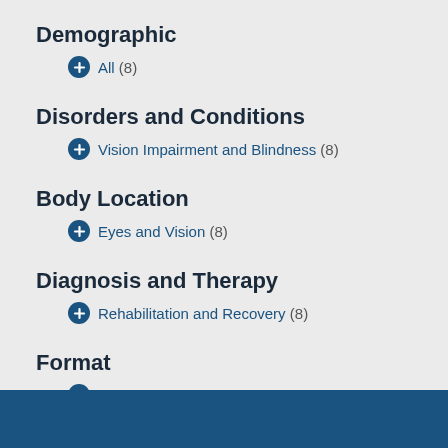Demographic
All (8)
Disorders and Conditions
Vision Impairment and Blindness (8)
Body Location
Eyes and Vision (8)
Diagnosis and Therapy
Rehabilitation and Recovery (8)
Format
Factsheet (8)